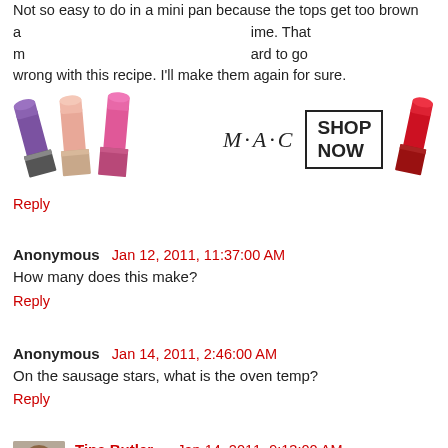Not so easy to do in a mini pan because the tops get too brown and the middles don't get done at the same time. That makes it hard to go wrong with this recipe. I'll make them again for sure.
[Figure (photo): MAC cosmetics advertisement showing lipsticks in purple, pink, and red with MAC logo and SHOP NOW box]
Reply
Anonymous  Jan 12, 2011, 11:37:00 AM
How many does this make?
Reply
Anonymous  Jan 14, 2011, 2:46:00 AM
On the sausage stars, what is the oven temp?
Reply
Tina Butler  Jan 14, 2011, 9:13:00 AM
It is 350 degrees. Thank for catching that I amm off to fix it now.
Reply